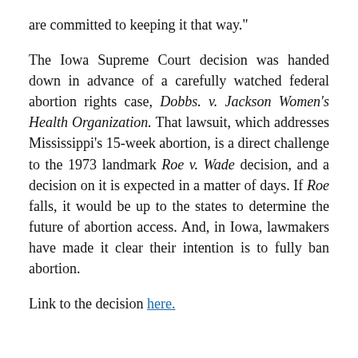are committed to keeping it that way."
The Iowa Supreme Court decision was handed down in advance of a carefully watched federal abortion rights case, Dobbs. v. Jackson Women's Health Organization. That lawsuit, which addresses Mississippi's 15-week abortion, is a direct challenge to the 1973 landmark Roe v. Wade decision, and a decision on it is expected in a matter of days. If Roe falls, it would be up to the states to determine the future of abortion access. And, in Iowa, lawmakers have made it clear their intention is to fully ban abortion.
Link to the decision here.